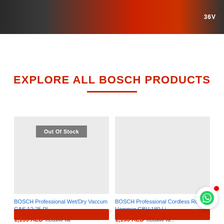[Figure (photo): Dark banner image showing Bosch power tool battery with '36V' text and Bosch logo, dark background with red accents]
EXPLORE ALL BOSCH PRODUCTS
[Figure (photo): Product card for BOSCH Professional Wet/Dry Vaccum GAS 12-25 PL, grey placeholder image with 'Out Of Stock' badge]
BOSCH Professional Wet/Dry Vaccum GAS 12-25 PL
1,155 AED Inclusive Vat
[Figure (photo): Product card for BOSCH Professional Cordless Rotary Hammer GBH 180 Li, grey placeholder image]
BOSCH Professional Cordless Rotary Hammer GBH 180 Li
1,155 AED Inclusive Vat